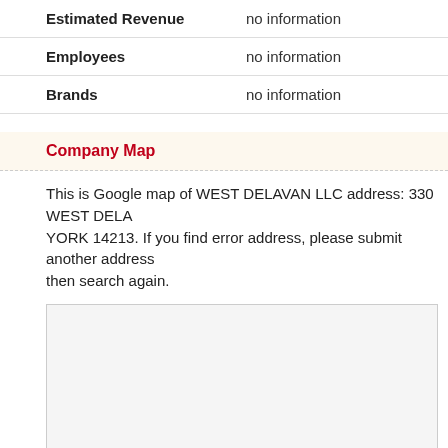| Field | Value |
| --- | --- |
| Estimated Revenue | no information |
| Employees | no information |
| Brands | no information |
Company Map
This is Google map of WEST DELAVAN LLC address: 330 WEST DELA... YORK 14213. If you find error address, please submit another address then search again.
[Figure (map): Google map placeholder showing the location of WEST DELAVAN LLC at 330 West Delavan, New York 14213]